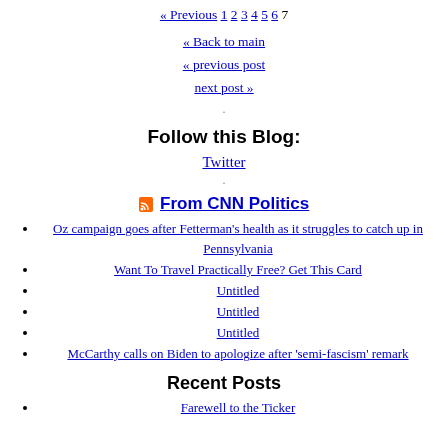« Previous 1 2 3 4 5 6 7
« Back to main
« previous post
next post »
Follow this Blog:
Twitter
From CNN Politics
Oz campaign goes after Fetterman's health as it struggles to catch up in Pennsylvania
Want To Travel Practically Free? Get This Card
Untitled
Untitled
Untitled
McCarthy calls on Biden to apologize after 'semi-fascism' remark
Recent Posts
Farewell to the Ticker